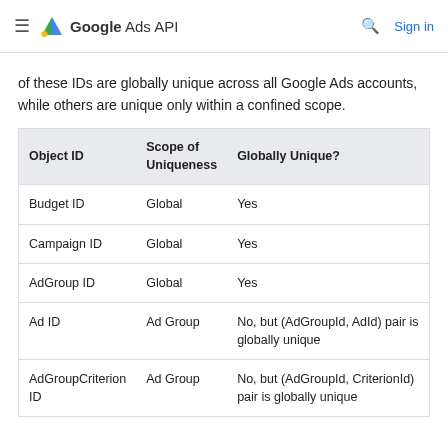Google Ads API  Sign in
of these IDs are globally unique across all Google Ads accounts, while others are unique only within a confined scope.
| Object ID | Scope of Uniqueness | Globally Unique? |
| --- | --- | --- |
| Budget ID | Global | Yes |
| Campaign ID | Global | Yes |
| AdGroup ID | Global | Yes |
| Ad ID | Ad Group | No, but (AdGroupId, AdId) pair is globally unique |
| AdGroupCriterion ID | Ad Group | No, but (AdGroupId, CriterionId) pair is globally unique |